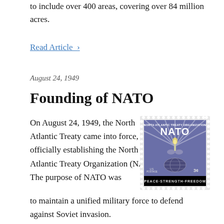to include over 400 areas, covering over 84 million acres.
Read Article >
August 24, 1949
Founding of NATO
On August 24, 1949, the North Atlantic Treaty came into force, officially establishing the North Atlantic Treaty Organization (NATO). The purpose of NATO was to maintain a unified military force to defend against Soviet invasion.
[Figure (photo): A postage stamp depicting NATO — North Atlantic Treaty Organization — showing a torch held aloft with rays of light, hands clasped, globe below, text reading PEACE-STRENGTH-FREEDOM, U.S. POSTAGE 3¢, purple/blue color.]